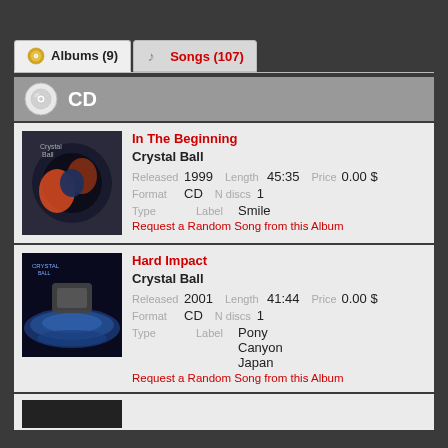Albums (9)  Songs (107)
CD
In The Beginning
Crystal Ball
Released 1999  Length 45:35  Price 0.00 $
Format CD  N discs 1
Type  Label Smile
Request a Random Song from this Album
Hard Impact
Crystal Ball
Released 2001  Length 41:44  Price 0.00 $
Format CD  N discs 1
Type  Label Pony Canyon Japan
Request a Random Song from this Album